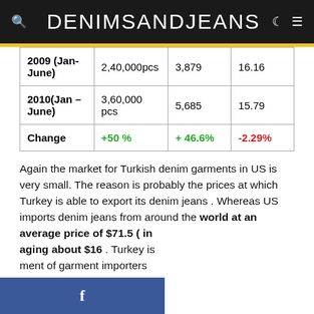DENIMSANDJEANS
| 2009 (Jan-June) | 2,40,000pcs | 3,879 | 16.16 |
| 2010(Jan – June) | 3,60,000 pcs | 5,685 | 15.79 |
| Change | +50 % | + 46.6% | -2.29% |
Again the market for Turkish denim garments in US is very small. The reason is probably the prices at which Turkey is able to export its denim jeans . Whereas US imports denim jeans from around the world at an average price of $71.5 ( in [averaging about $16] . Turkey is [ment of garment importers